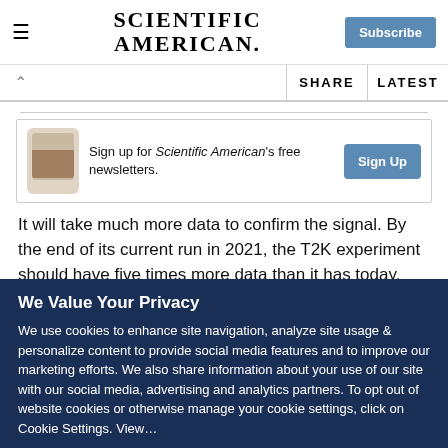Scientific American — Subscribe
SHARE  LATEST
[Figure (screenshot): Newsletter signup block with phone image and Sign Up button]
It will take much more data to confirm the signal. By the end of its current run in 2021, the T2K experiment should have five times more data than it has today. But the team will need 13
We Value Your Privacy
We use cookies to enhance site navigation, analyze site usage & personalize content to provide social media features and to improve our marketing efforts. We also share information about your use of our site with our social media, advertising and analytics partners. To opt out of website cookies or otherwise manage your cookie settings, click on Cookie Settings. View…